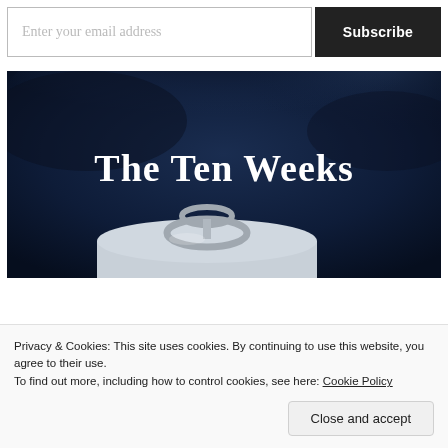Enter your email address
Subscribe
[Figure (illustration): Book cover image titled 'The Ten Weeks' with bold white serif text on a dark smoky blue background, with a metallic can opener/pull-tab visible in the lower center portion.]
Privacy & Cookies: This site uses cookies. By continuing to use this website, you agree to their use.
To find out more, including how to control cookies, see here: Cookie Policy
Close and accept